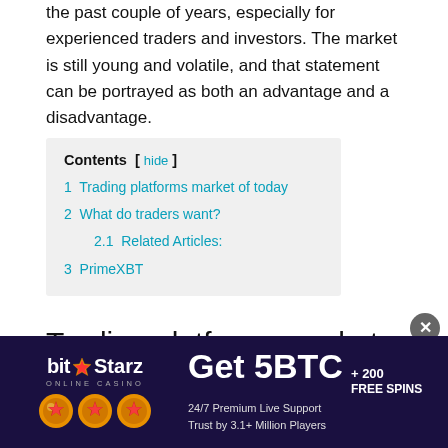the past couple of years, especially for experienced traders and investors. The market is still young and volatile, and that statement can be portrayed as both an advantage and a disadvantage.
1  Trading platforms market of today
2  What do traders want?
2.1  Related Articles:
3  PrimeXBT
Trading platforms market of today
[Figure (other): BitStarz Online Casino advertisement banner showing logo with star, three gold coins, and promotional text: Get 5BTC + 200 FREE SPINS, 24/7 Premium Live Support, Trust by 3.1+ Million Players]